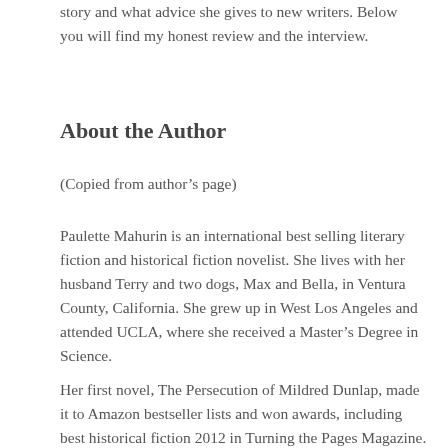story and what advice she gives to new writers. Below you will find my honest review and the interview.
About the Author
(Copied from author's page)
Paulette Mahurin is an international best selling literary fiction and historical fiction novelist. She lives with her husband Terry and two dogs, Max and Bella, in Ventura County, California. She grew up in West Los Angeles and attended UCLA, where she received a Master's Degree in Science.
Her first novel, The Persecution of Mildred Dunlap, made it to Amazon bestseller lists and won awards, including best historical fiction 2012 in Turning the Pages Magazine. Her